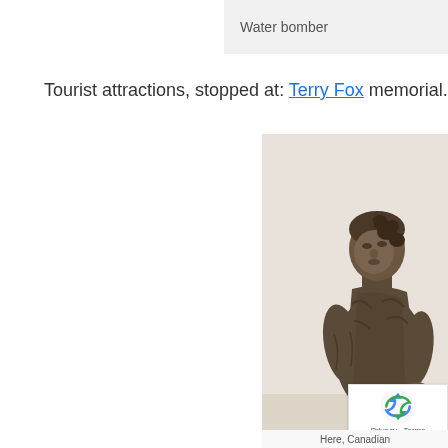Water bomber
Tourist attractions, stopped at: Terry Fox memorial.
[Figure (photo): Bronze statue of Terry Fox looking upward, upper body visible, wearing a t-shirt, with a reCAPTCHA badge overlay in the bottom right corner]
Here, Canadian